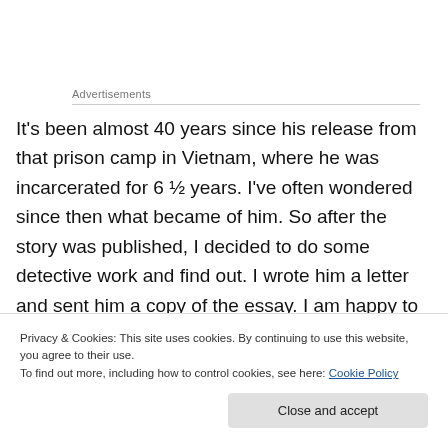Advertisements
It's been almost 40 years since his release from that prison camp in Vietnam, where he was incarcerated for 6 ½ years. I've often wondered since then what became of him. So after the story was published, I decided to do some detective work and find out. I wrote him a letter and sent him a copy of the essay. I am happy to say I received a response from him just yesterday and wanted to share
Privacy & Cookies: This site uses cookies. By continuing to use this website, you agree to their use.
To find out more, including how to control cookies, see here: Cookie Policy